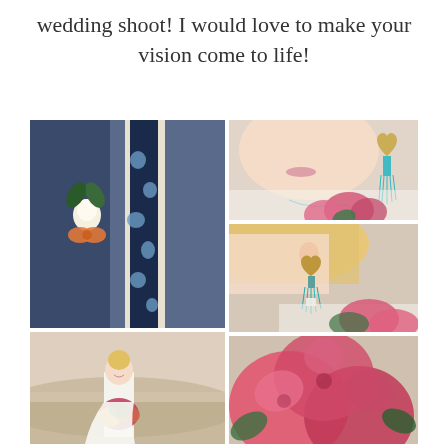wedding shoot! I would love to make your vision come to life!
[Figure (photo): Close-up of groom's navy blue floral tie and boutonniere with orange bow and white flower on navy suit]
[Figure (photo): Close-up of bride's face partially shown, wearing heart-shaped earrings with turquoise tassel, holding pink protea bouquet, wearing white lace dress]
[Figure (photo): Close-up of bride's ear with ornate heart earring and turquoise tassel, holding pink flower bouquet, white lace dress visible]
[Figure (photo): Full-length shot of bride in white dress standing in open field holding colorful bouquet, smiling]
[Figure (photo): Partial view of pink/red floral bouquet, bottom right corner]